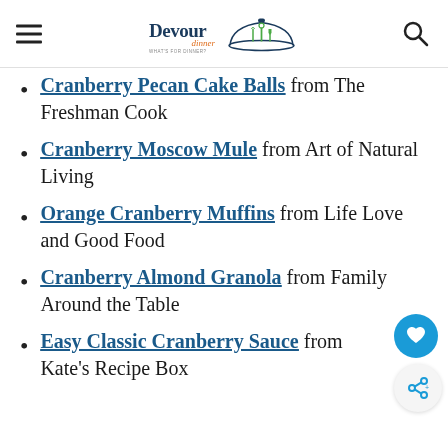Devour Dinner — WHAT'S FOR DINNER?
Cranberry Pecan Cake Balls from The Freshman Cook
Cranberry Moscow Mule from Art of Natural Living
Orange Cranberry Muffins from Life Love and Good Food
Cranberry Almond Granola from Family Around the Table
Easy Classic Cranberry Sauce from Kate's Recipe Box